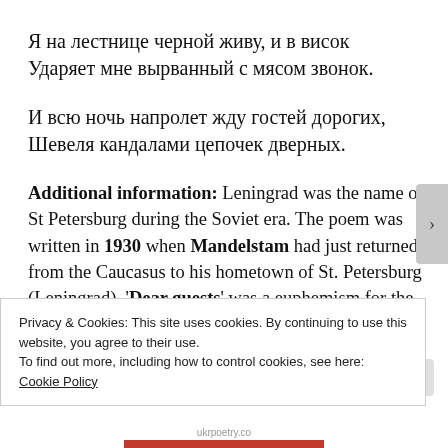Я на лестнице черной живу, и в висок
Ударяет мне вырванный с мясом звонок.
И всю ночь напролет жду гостей дорогих,
Шевеля кандалами цепочек дверных.
Additional information: Leningrad was the name of St Petersburg during the Soviet era. The poem was written in 1930 when Mandelstam had just returned from the Caucasus to his hometown of St. Petersburg (Leningrad). 'Dear guests' was a euphemism for the political police who now
Privacy & Cookies: This site uses cookies. By continuing to use this website, you agree to their use.
To find out more, including how to control cookies, see here: Cookie Policy
Close and accept